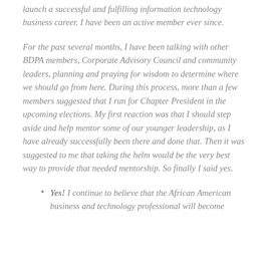launch a successful and fulfilling information technology business career. I have been an active member ever since.
For the past several months, I have been talking with other BDPA members, Corporate Advisory Council and community leaders, planning and praying for wisdom to determine where we should go from here. During this process, more than a few members suggested that I run for Chapter President in the upcoming elections. My first reaction was that I should step aside and help mentor some of our younger leadership, as I have already successfully been there and done that. Then it was suggested to me that taking the helm would be the very best way to provide that needed mentorship. So finally I said yes.
Yes! I continue to believe that the African American business and technology professional will become